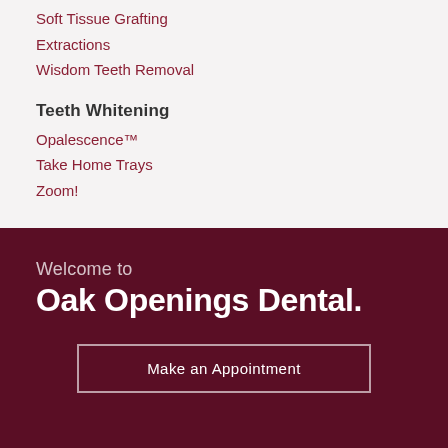Soft Tissue Grafting
Extractions
Wisdom Teeth Removal
Teeth Whitening
Opalescence™
Take Home Trays
Zoom!
Welcome to
Oak Openings Dental.
Make an Appointment